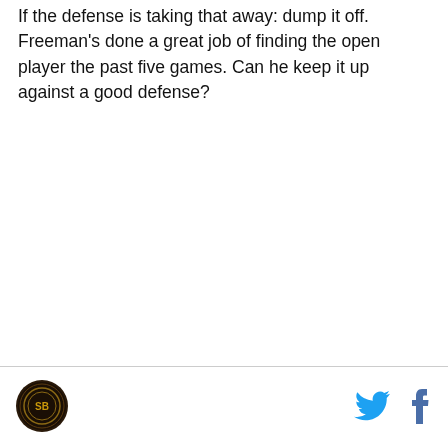If the defense is taking that away: dump it off. Freeman's done a great job of finding the open player the past five games. Can he keep it up against a good defense?
[Figure (logo): Circular sports team logo with dark background]
[Figure (other): Twitter bird icon in cyan/blue]
[Figure (other): Facebook 'f' icon in blue]